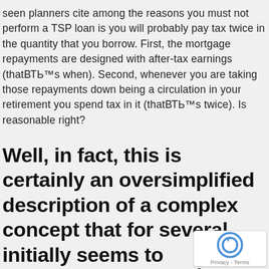seen planners cite among the reasons you must not perform a TSP loan is you will probably pay tax twice in the quantity that you borrow. First, the mortgage repayments are designed with after-tax earnings (thatВТЬ™s when). Second, whenever you are taking those repayments down being a circulation in your retirement you spend tax in it (thatВТЬ™s twice). Is reasonable right?
Well, in fact, this is certainly an oversimplified description of a complex concept that for several initially seems to ВТЬЊring real,ВТЬĆas it did for myself a